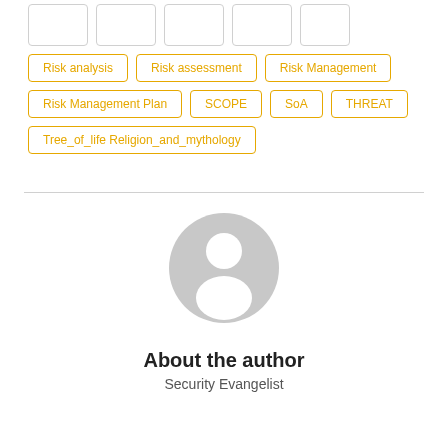Risk analysis
Risk assessment
Risk Management
Risk Management Plan
SCOPE
SoA
THREAT
Tree_of_life Religion_and_mythology
[Figure (illustration): Generic user avatar — grey silhouette of a person on white background]
About the author
Security Evangelist